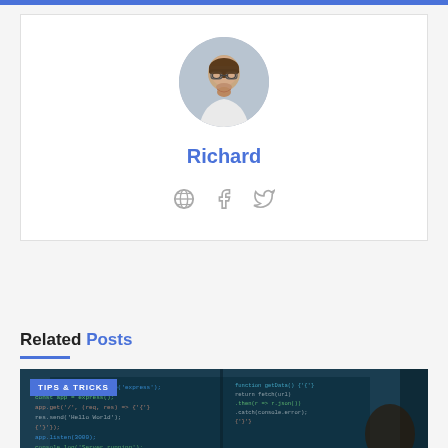[Figure (photo): Circular profile photo of a young man named Richard with glasses and a beard, wearing a white shirt, against a grey background]
Richard
[Figure (illustration): Three social media icon buttons: globe/website icon, Facebook icon, and Twitter bird icon, all in grey]
Related Posts
[Figure (photo): A photo showing multiple computer monitors displaying code in dark theme, with a programmer visible. A badge reading TIPS & TRICKS is overlaid in the top-left corner.]